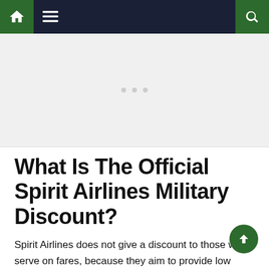Navigation bar with home, menu, and search icons
[Figure (other): Advertisement placeholder area with three grey dots in center]
What Is The Official Spirit Airlines Military Discount?
Spirit Airlines does not give a discount to those who serve on fares, because they aim to provide low prices to all of their customers.